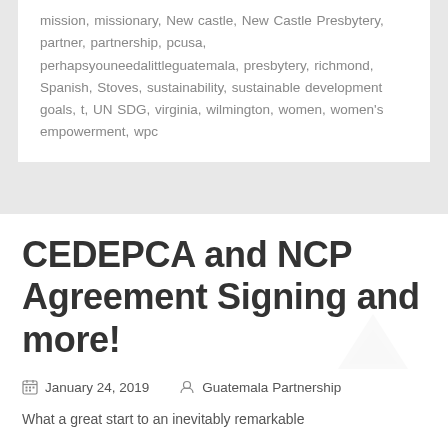mission, missionary, New castle, New Castle Presbytery, partner, partnership, pcusa, perhapsyouneedalittleguatemala, presbytery, richmond, Spanish, Stoves, sustainability, sustainable development goals, t, UN SDG, virginia, wilmington, women, women's empowerment, wpc
CEDEPCA and NCP Agreement Signing and more!
January 24, 2019   Guatemala Partnership
What a great start to an inevitably remarkable...